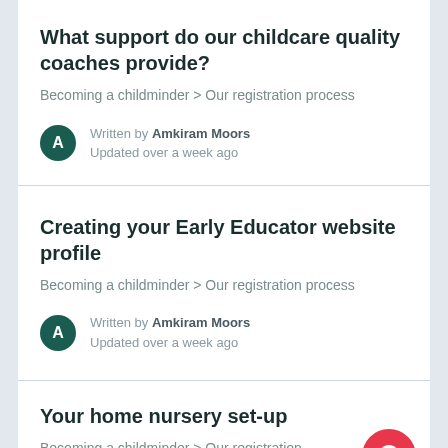What support do our childcare quality coaches provide?
Becoming a childminder > Our registration process
Written by Amkiram Moors
Updated over a week ago
Creating your Early Educator website profile
Becoming a childminder > Our registration process
Written by Amkiram Moors
Updated over a week ago
Your home nursery set-up
Becoming a childminder > Our registration